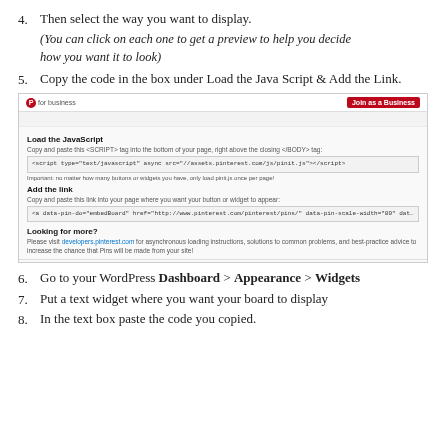4. Then select the way you want to display.
(You can click on each one to get a preview to help you decide how you want it to look)
5. Copy the code in the box under Load the Java Script & Add the Link.
[Figure (screenshot): Screenshot of Pinterest for Business page showing Load the JavaScript and Add the link sections with code boxes and a Looking for more? section, with top navigation bar and footer links.]
6. Go to your WordPress Dashboard > Appearance > Widgets
7. Put a text widget where you want your board to display
8. In the text box paste the code you copied.